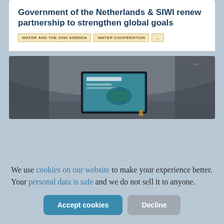Government of the Netherlands & SIWI renew partnership to strengthen global goals
WATER AND THE 2030 AGENDA   WATER COOPERATION   ...
[Figure (photo): A room with a large display screen showing a presentation, photographed from a wide angle lens]
We use cookies on our website to make your experience better. Your personal data is safe and we do not sell it to anyone.
Accept cookies   Decline